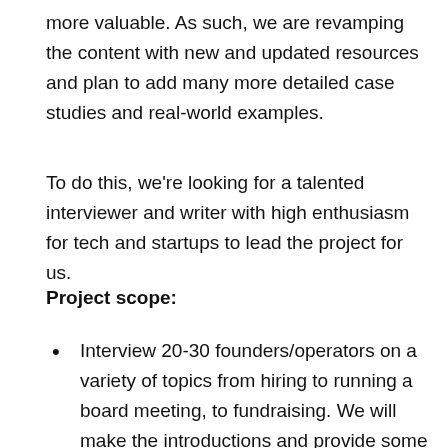more valuable. As such, we are revamping the content with new and updated resources and plan to add many more detailed case studies and real-world examples.
To do this, we're looking for a talented interviewer and writer with high enthusiasm for tech and startups to lead the project for us.
Project scope:
Interview 20-30 founders/operators on a variety of topics from hiring to running a board meeting, to fundraising. We will make the introductions and provide some high-level